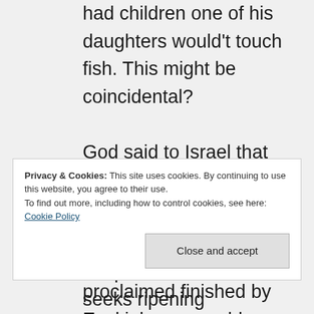had children one of his daughters would't touch fish. This might be coincidental? God said to Israel that he punishes children for the sins of their parents until the 3rd and 4th generation; and this was proclaimed finished by Ezekiel, presumably because of the freedom from the past brought at his time by the chaos of the exile.
Buddhists believe that we are born
Privacy & Cookies: This site uses cookies. By continuing to use this website, you agree to their use.
To find out more, including how to control cookies, see here: Cookie Policy
unripened fruit that seeks ripening